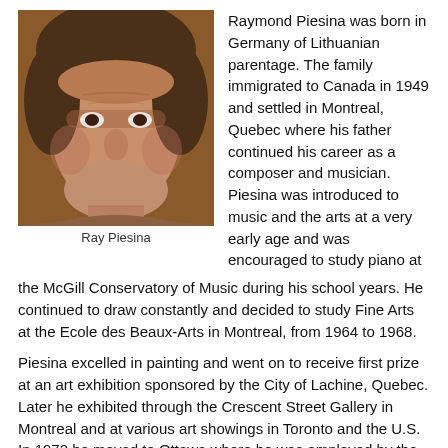[Figure (photo): Portrait photo of Ray Piesina, a middle-aged man with gray-streaked brown hair, facing slightly left, warm-toned background.]
Ray Piesina
Raymond Piesina was born in Germany of Lithuanian parentage. The family immigrated to Canada in 1949 and settled in Montreal, Quebec where his father continued his career as a composer and musician. Piesina was introduced to music and the arts at a very early age and was encouraged to study piano at the McGill Conservatory of Music during his school years. He continued to draw constantly and decided to study Fine Arts at the Ecole des Beaux-Arts in Montreal, from 1964 to 1968.
Piesina excelled in painting and went on to receive first prize at an art exhibition sponsored by the City of Lachine, Quebec. Later he exhibited through the Crescent Street Gallery in Montreal and at various art showings in Toronto and the U.S. In 1972 he moved to Ottawa where he was employed by the Federal Government as a graphic designer. During that time, he was also Art Director with "What's On" publications and had a solo exhibit of paintings at the